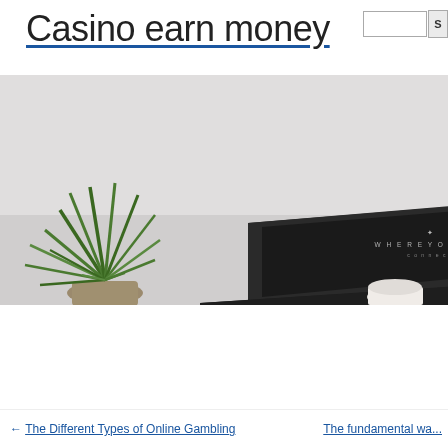Casino earn money
[Figure (photo): A laptop computer with 'WHERE YOU ARE' text on screen, placed on a light grey surface next to a green spiky plant on the left. A white cup is partially visible at the bottom right. The image is a wide banner-style hero image.]
← The Different Types of Online Gambling    The fundamental wa...